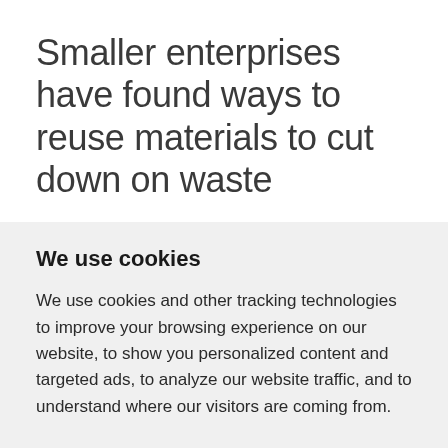Smaller enterprises have found ways to reuse materials to cut down on waste
We use cookies
We use cookies and other tracking technologies to improve your browsing experience on our website, to show you personalized content and targeted ads, to analyze our website traffic, and to understand where our visitors are coming from.